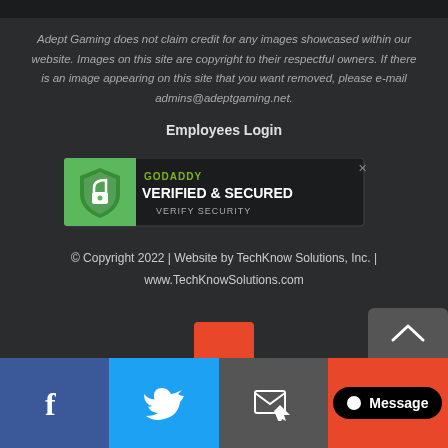Adept Gaming does not claim credit for any images showcased within our website. Images on this site are copyright to their respectful owners. If there is an image appearing on this site that you want removed, please e-mail admins@adeptgaming.net.
Employees Login
[Figure (logo): GoDaddy Verified & Secured badge with shield icon and 'VERIFY SECURITY' text]
© Copyright 2022 | Website by TechKnow Solutions, Inc. | www.TechKnowSolutions.com